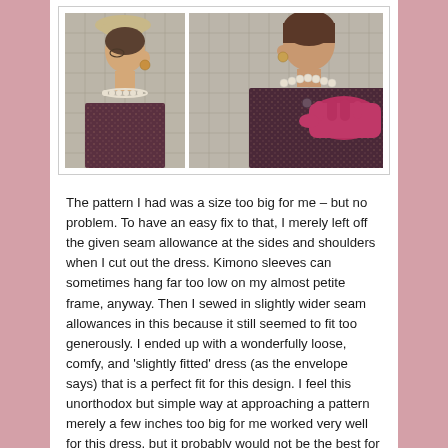[Figure (photo): Two photos side by side of a woman wearing a dark maroon/brown tweed dress. Left photo shows a side profile view with a beige hat, hoop earrings, and pearl necklace. Right photo shows a closer front view highlighting a pink glove, pearl necklace, and a button detail on the dress, against a tiled wall background.]
The pattern I had was a size too big for me – but no problem.  To have an easy fix to that, I merely left off the given seam allowance at the sides and shoulders when I cut out the dress.  Kimono sleeves can sometimes hang far too low on my almost petite frame, anyway.  Then I sewed in slightly wider seam allowances in this because it still seemed to fit too generously.  I ended up with a wonderfully loose, comfy, and 'slightly fitted' dress (as the envelope says) that is a perfect fit for this design.  I feel this unorthodox but simple way at approaching a pattern merely a few inches too big for me worked very well for this dress, but it probably would not be the best for a